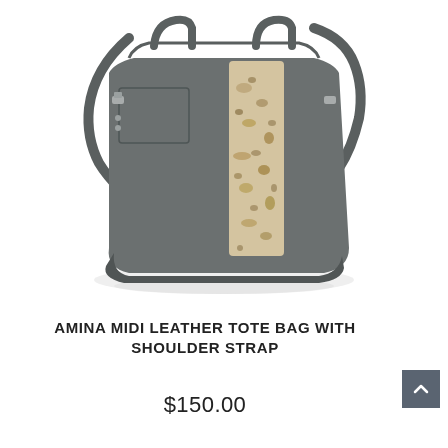[Figure (photo): Gray leather tote bag with a leopard print hair-on hide stripe panel on the front, silver hardware, top handles, and a long adjustable shoulder strap. The bag is photographed on a white background with a slight shadow/reflection beneath.]
AMINA MIDI LEATHER TOTE BAG WITH SHOULDER STRAP
$150.00